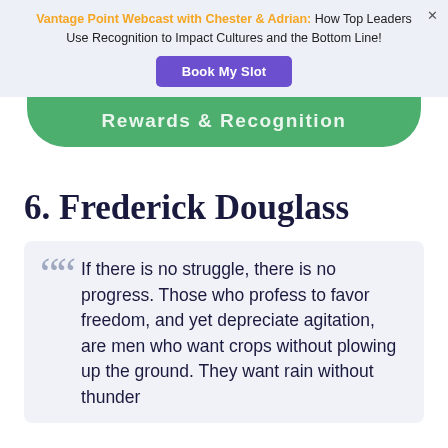Vantage Point Webcast with Chester & Adrian: How Top Leaders Use Recognition to Impact Cultures and the Bottom Line!
[Figure (other): Book My Slot button - purple CTA button]
[Figure (other): Green rounded bar with text Rewards & Recognition]
6. Frederick Douglass
If there is no struggle, there is no progress. Those who profess to favor freedom, and yet depreciate agitation, are men who want crops without plowing up the ground. They want rain without thunder